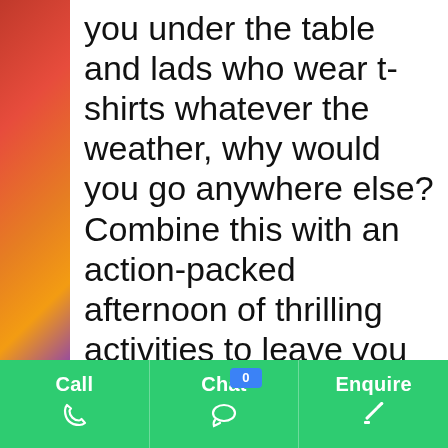[Figure (photo): Partial background image on the left side showing a colorful, blurred scene (reds, oranges, purples)]
you under the table and lads who wear t-shirts whatever the weather, why would you go anywhere else? Combine this with an action-packed afternoon of thrilling activities to leave you pumped up for a night the Toon, and there you have it:
Call  Chat  0  Enquire